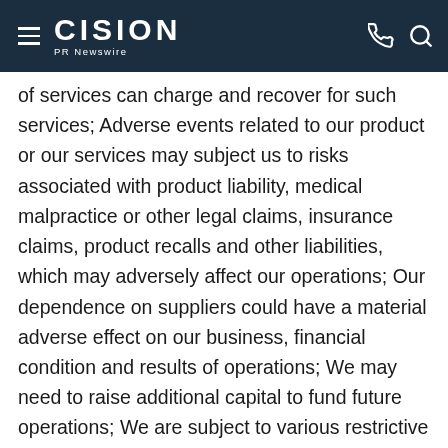CISION PR Newswire
of services can charge and recover for such services; Adverse events related to our product or our services may subject us to risks associated with product liability, medical malpractice or other legal claims, insurance claims, product recalls and other liabilities, which may adversely affect our operations; Our dependence on suppliers could have a material adverse effect on our business, financial condition and results of operations; We may need to raise additional capital to fund future operations; We are subject to various restrictive covenants and events of default under the Credit Facilities; The Affordable Care Act ("ACA") and potential changes to it may have significant effect on our business; The Medicare